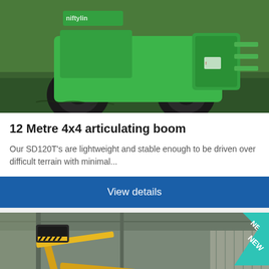[Figure (photo): Green articulating boom lift machine (SD120T) on grass terrain, shot from front-low angle showing large black tires and green body]
12 Metre 4x4 articulating boom
Our SD120T's are lightweight and stable enough to be driven over difficult terrain with minimal...
View details
[Figure (photo): Yellow articulating boom lift inside a warehouse/shed, with a 'NEW' teal ribbon badge in the top-right corner]